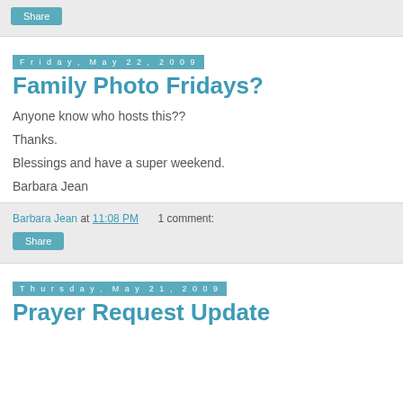Share
Friday, May 22, 2009
Family Photo Fridays?
Anyone know who hosts this??
Thanks.
Blessings and have a super weekend.
Barbara Jean
Barbara Jean at 11:08 PM   1 comment:
Share
Thursday, May 21, 2009
Prayer Request Update